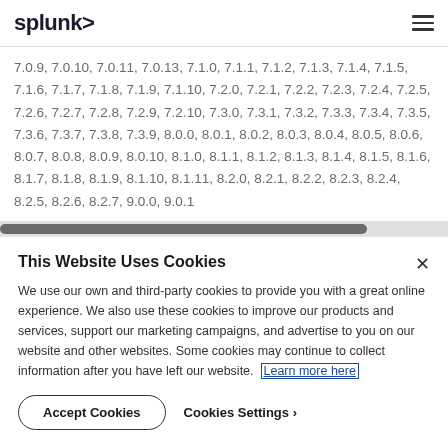splunk>
7.0.9, 7.0.10, 7.0.11, 7.0.13, 7.1.0, 7.1.1, 7.1.2, 7.1.3, 7.1.4, 7.1.5, 7.1.6, 7.1.7, 7.1.8, 7.1.9, 7.1.10, 7.2.0, 7.2.1, 7.2.2, 7.2.3, 7.2.4, 7.2.5, 7.2.6, 7.2.7, 7.2.8, 7.2.9, 7.2.10, 7.3.0, 7.3.1, 7.3.2, 7.3.3, 7.3.4, 7.3.5, 7.3.6, 7.3.7, 7.3.8, 7.3.9, 8.0.0, 8.0.1, 8.0.2, 8.0.3, 8.0.4, 8.0.5, 8.0.6, 8.0.7, 8.0.8, 8.0.9, 8.0.10, 8.1.0, 8.1.1, 8.1.2, 8.1.3, 8.1.4, 8.1.5, 8.1.6, 8.1.7, 8.1.8, 8.1.9, 8.1.10, 8.1.11, 8.2.0, 8.2.1, 8.2.2, 8.2.3, 8.2.4, 8.2.5, 8.2.6, 8.2.7, 9.0.0, 9.0.1
This Website Uses Cookies
We use our own and third-party cookies to provide you with a great online experience. We also use these cookies to improve our products and services, support our marketing campaigns, and advertise to you on our website and other websites. Some cookies may continue to collect information after you have left our website. Learn more here
Accept Cookies   Cookies Settings ›